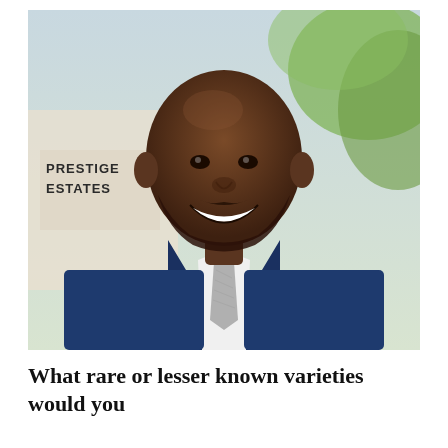[Figure (photo): Professional headshot of a smiling bald Black man wearing a navy blue suit with a white dress shirt and grey tie, standing in front of a sign reading 'PRESTIGE ESTATES', with blurred green foliage in the background.]
What rare or lesser known varieties would you recommend?